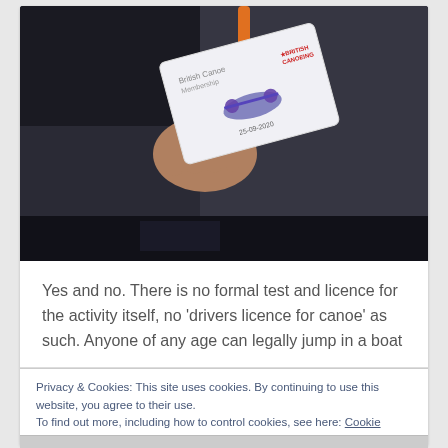[Figure (photo): A person holding a British Canoeing membership card on an orange lanyard. The card shows the British Canoeing logo, a kayaker icon, and a date 25-09-2020. The person is wearing dark clothing.]
Yes and no. There is no formal test and licence for the activity itself, no 'drivers licence for canoe' as such. Anyone of any age can legally jump in a boat
Privacy & Cookies: This site uses cookies. By continuing to use this website, you agree to their use.
To find out more, including how to control cookies, see here: Cookie Policy